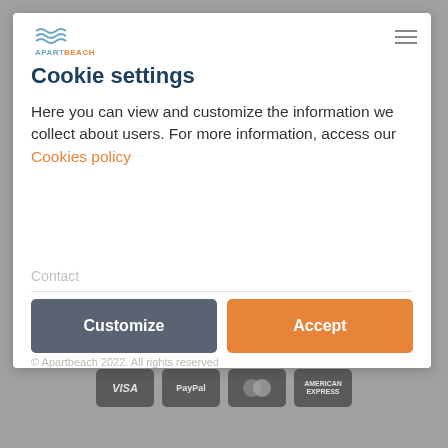[Figure (logo): ApartBeach logo with wave icon above text, 'APART' in blue and 'BEACH' in orange]
Cookie settings
Here you can view and customize the information we collect about users. For more information, access our Cookies policy
Contact
Customize
Accept
© Apartbeach 2022. All rights reserved
Legal note   Privacy policy   Cookies policy
[Figure (other): Payment method icons: VISA, PayPal, Mastercard, American Express]